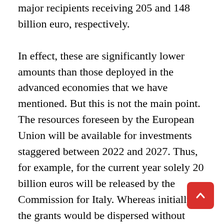major recipients receiving 205 and 148 billion euro, respectively. In effect, these are significantly lower amounts than those deployed in the advanced economies that we have mentioned. But this is not the main point. The resources foreseen by the European Union will be available for investments staggered between 2022 and 2027. Thus, for example, for the current year solely 20 billion euros will be released by the Commission for Italy. Whereas initially the grants would be dispersed without conditionalities, the commission is now trying to introduce so called “reforms” for grants well, which are nothing less the expansion of its neo-liberal diktat.